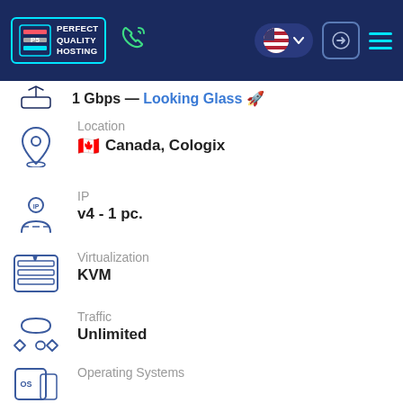[Figure (logo): Perfect Quality Hosting logo in header with nav icons]
1 Gbps — Looking Glass 🚀
Location
🇨🇦 Canada, Cologix
IP
v4 - 1 pc.
Virtualization
KVM
Traffic
Unlimited
Operating Systems
Control panels